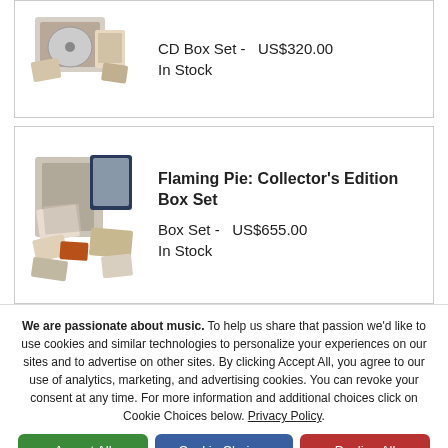[Figure (photo): CD Box Set product image with multiple CDs and booklets]
CD Box Set  -   US$320.00
In Stock
[Figure (photo): Flaming Pie Collector's Edition Box Set product image with photos, prints and memorabilia]
Flaming Pie: Collector's Edition Box Set
Box Set  -   US$655.00
In Stock
We are passionate about music. To help us share that passion we'd like to use cookies and similar technologies to personalize your experiences on our sites and to advertise on other sites. By clicking Accept All, you agree to our use of analytics, marketing, and advertising cookies. You can revoke your consent at any time. For more information and additional choices click on Cookie Choices below. Privacy Policy.